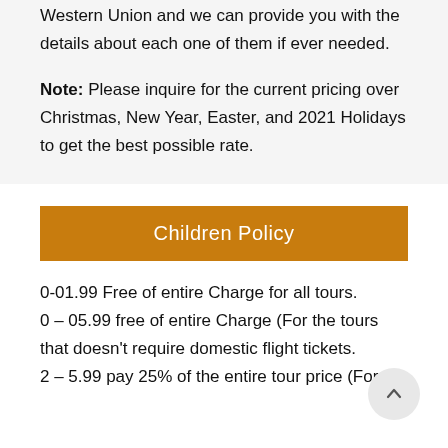Western Union and we can provide you with the details about each one of them if ever needed.
Note: Please inquire for the current pricing over Christmas, New Year, Easter, and 2021 Holidays to get the best possible rate.
Children Policy
0-01.99 Free of entire Charge for all tours.
0 – 05.99 free of entire Charge (For the tours that doesn't require domestic flight tickets.
2 – 5.99 pay 25% of the entire tour price (For